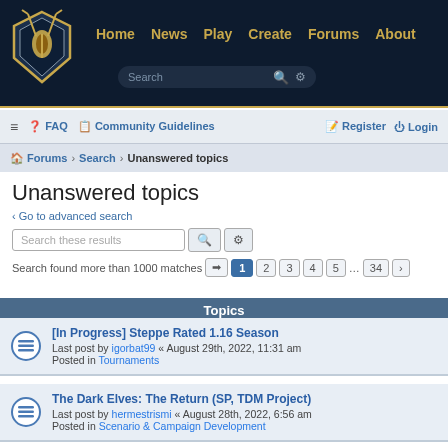Home  News  Play  Create  Forums  About
≡  FAQ  Community Guidelines  Register  Login
Forums › Search › Unanswered topics
Unanswered topics
< Go to advanced search
Search these results
Search found more than 1000 matches  1  2  3  4  5  ...  34  >
Topics
[In Progress] Steppe Rated 1.16 Season
Last post by igorbat99 « August 29th, 2022, 11:31 am
Posted in Tournaments
The Dark Elves: The Return (SP, TDM Project)
Last post by hermestrismi « August 28th, 2022, 6:56 am
Posted in Scenario & Campaign Development